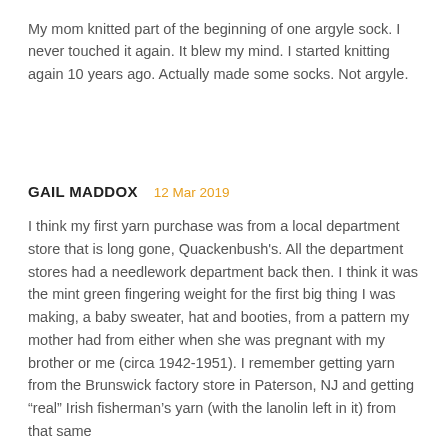My mom knitted part of the beginning of one argyle sock. I never touched it again. It blew my mind. I started knitting again 10 years ago. Actually made some socks. Not argyle.
GAIL MADDOX   12 Mar 2019
I think my first yarn purchase was from a local department store that is long gone, Quackenbush's. All the department stores had a needlework department back then. I think it was the mint green fingering weight for the first big thing I was making, a baby sweater, hat and booties, from a pattern my mother had from either when she was pregnant with my brother or me (circa 1942-1951). I remember getting yarn from the Brunswick factory store in Paterson, NJ and getting “real” Irish fisherman's yarn (with the lanolin left in it) from that same